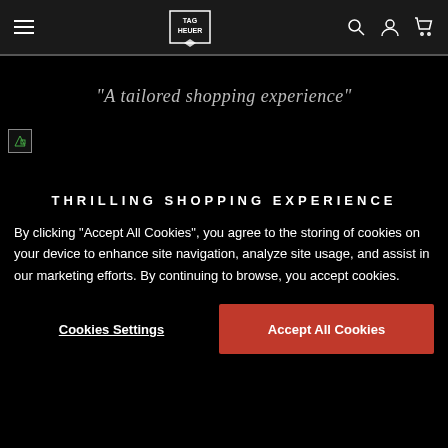TAG Heuer navigation header with hamburger menu, logo, search, account, and cart icons
"A tailored shopping experience"
[Figure (photo): Small broken/loading image icon placeholder]
THRILLING SHOPPING EXPERIENCE
By clicking “Accept All Cookies”, you agree to the storing of cookies on your device to enhance site navigation, analyze site usage, and assist in our marketing efforts. By continuing to browse, you accept cookies.
Cookies Settings | Accept All Cookies